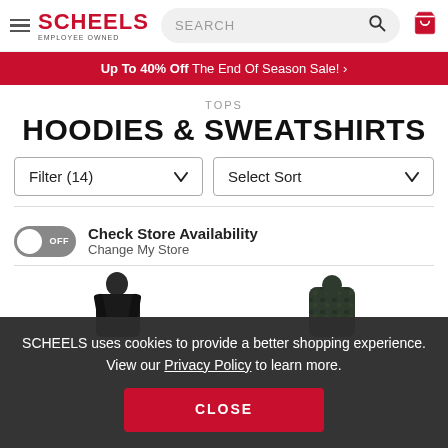SCHEELS EMPLOYEE OWNED — Search bar, cart icon
Up To 40% Off The End Of Season Sale! ›
TOPS
HOODIES & SWEATSHIRTS
Filter (14)
Select Sort
Check Store Availability
Change My Store
[Figure (photo): Two product thumbnail images of hoodies/sweatshirts, partially visible at bottom of page]
SCHEELS uses cookies to provide a better shopping experience. View our Privacy Policy to learn more.
CLOSE